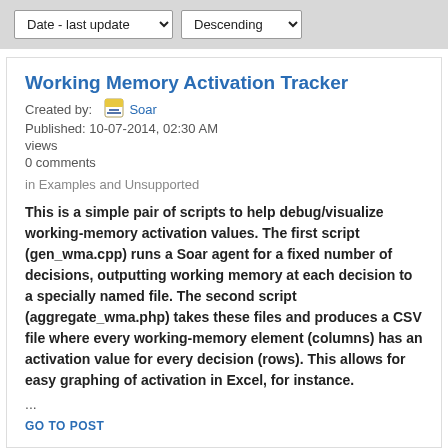Date - last update ▾  Descending ▾
Working Memory Activation Tracker
Created by:  Soar
Published: 10-07-2014, 02:30 AM
views
0 comments
in Examples and Unsupported
This is a simple pair of scripts to help debug/visualize working-memory activation values. The first script (gen_wma.cpp) runs a Soar agent for a fixed number of decisions, outputting working memory at each decision to a specially named file. The second script (aggregate_wma.php) takes these files and produces a CSV file where every working-memory element (columns) has an activation value for every decision (rows). This allows for easy graphing of activation in Excel, for instance.
...
GO TO POST
State2Dot
Created by:  Soar